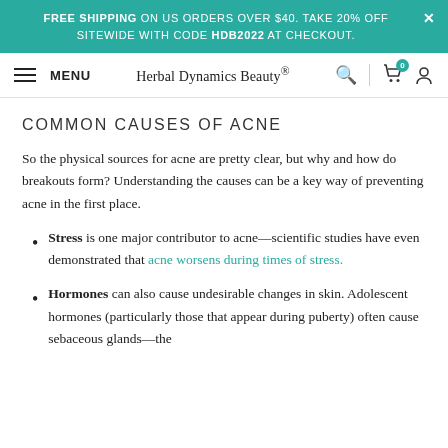FREE SHIPPING ON US ORDERS OVER $40. TAKE 20% OFF SITEWIDE WITH CODE HDB2022 AT CHECKOUT.
MENU | Herbal Dynamics Beauty® | search | cart 0 | account
COMMON CAUSES OF ACNE
So the physical sources for acne are pretty clear, but why and how do breakouts form? Understanding the causes can be a key way of preventing acne in the first place.
Stress is one major contributor to acne—scientific studies have even demonstrated that acne worsens during times of stress.
Hormones can also cause undesirable changes in skin. Adolescent hormones (particularly those that appear during puberty) often cause sebaceous glands—the